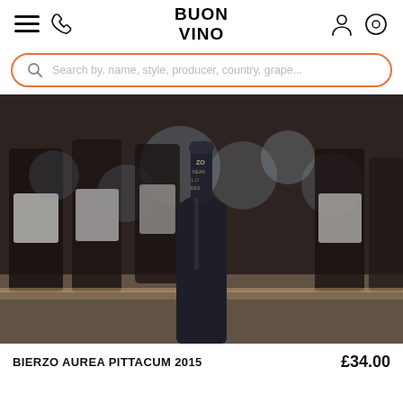BUON VINO
Search by, name, style, producer, country, grape...
[Figure (photo): Close-up photo of a dark wine bottle neck with label text visible (ZO, IA, EARS, L O, DES), set against a blurred background of wine bottles on a shelf with bokeh lighting.]
BIERZO AUREA PITTACUM 2015   £34.00